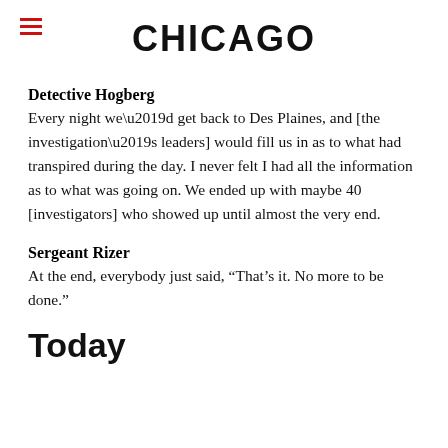CHICAGO
Detective Hogberg
Every night we’d get back to Des Plaines, and [the investigation’s leaders] would fill us in as to what had transpired during the day. I never felt I had all the information as to what was going on. We ended up with maybe 40 [investigators] who showed up until almost the very end.
Sergeant Rizer
At the end, everybody just said, “That’s it. No more to be done.”
Today